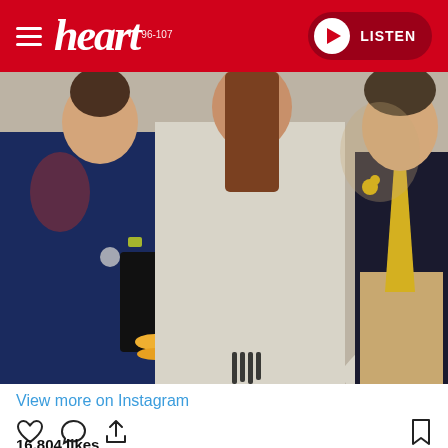heart 96-107 | LISTEN
[Figure (photo): Three people at what appears to be a horse racing event. A woman in a navy dress on the left holding a black clutch, a woman in the center wearing a light grey/cream textured suit pointing her finger, and a person on the right in a dark jacket with yellow tie.]
View more on Instagram
16,804 likes